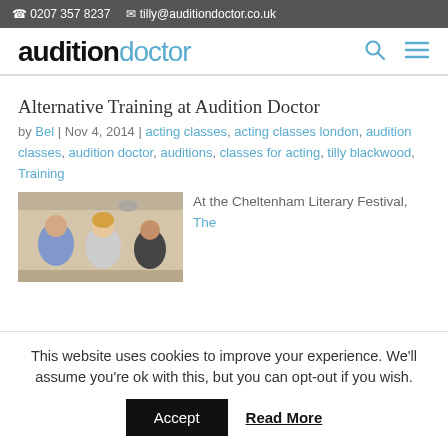0207 357 8237  tilly@auditiondoctor.co.uk
[Figure (logo): Audition Doctor logo with search and menu icons]
Alternative Training at Audition Doctor
by Bel | Nov 4, 2014 | acting classes, acting classes london, audition classes, audition doctor, auditions, classes for acting, tilly blackwood, Training
[Figure (photo): People sitting and talking in a room, appears to be a workshop or training session]
At the Cheltenham Literary Festival, The
This website uses cookies to improve your experience. We'll assume you're ok with this, but you can opt-out if you wish.